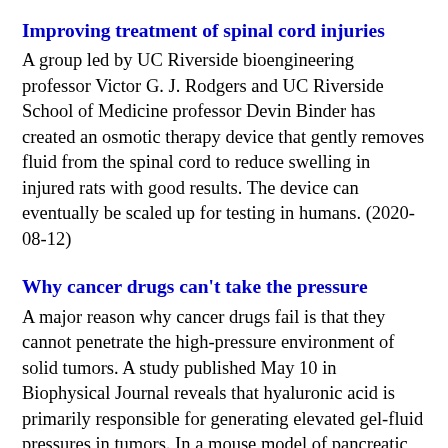Improving treatment of spinal cord injuries
A group led by UC Riverside bioengineering professor Victor G. J. Rodgers and UC Riverside School of Medicine professor Devin Binder has created an osmotic therapy device that gently removes fluid from the spinal cord to reduce swelling in injured rats with good results. The device can eventually be scaled up for testing in humans. (2020-08-12)
Why cancer drugs can't take the pressure
A major reason why cancer drugs fail is that they cannot penetrate the high-pressure environment of solid tumors. A study published May 10 in Biophysical Journal reveals that hyaluronic acid is primarily responsible for generating elevated gel-fluid pressures in tumors. In a mouse model of pancreatic cancer, treatment with an enzyme that breaks down hyaluronic acid normalized fluid pressure in tumors